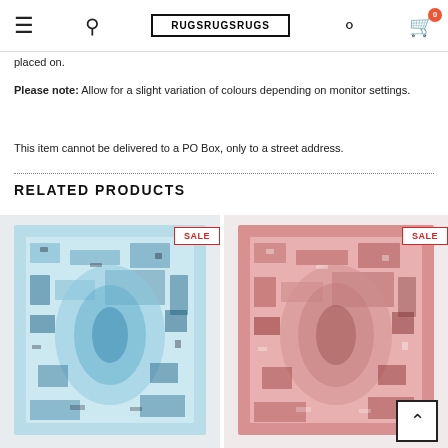RUGSRUGSRUGS
placed on.
Please note: Allow for a slight variation of colours depending on monitor settings.
This item cannot be delivered to a PO Box, only to a street address.
RELATED PRODUCTS
[Figure (photo): Blue vintage/distressed patterned rug with SALE badge]
[Figure (photo): Red/pink vintage/distressed patterned rug with SALE badge]